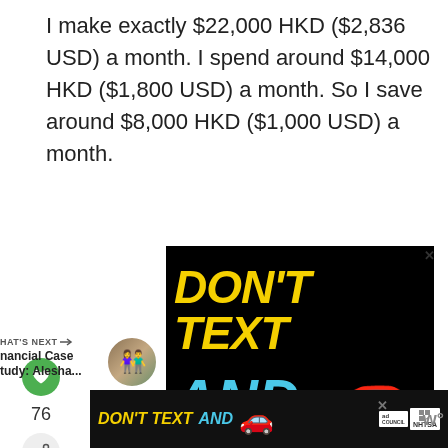I make exactly $22,000 HKD ($2,836 USD) a month. I spend around $14,000 HKD ($1,800 USD) a month. So I save around $8,000 HKD ($1,000 USD) a month.
[Figure (screenshot): Advertisement: DON'T TEXT AND DRIVE - NHTSA / Ad Council public service announcement with yellow text 'DON'T TEXT' and cyan text 'AND' with a red car emoji on black background]
[Figure (screenshot): Bottom ad strip repeating DON'T TEXT AND with car emoji and NHTSA/Ad Council logos, with close buttons and a W icon]